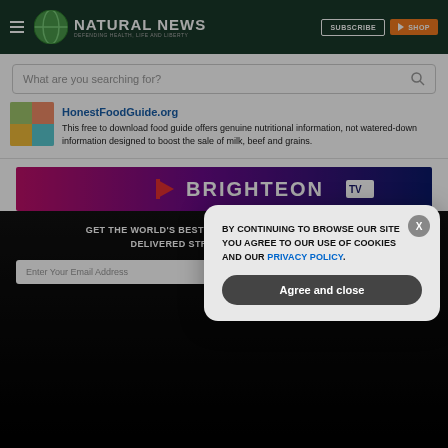Natural News - Defending Health, Life and Liberty | Subscribe | Shop
What are you searching for?
HonestFoodGuide.org - This free to download food guide offers genuine nutritional information, not watered-down information designed to boost the sale of milk, beef and grains.
[Figure (screenshot): Brighteon TV banner with logo]
GET THE WORLD'S BEST NATURAL HEALTH NEWSLETTER DELIVERED STRAIGHT TO YOUR INBOX
Enter Your Email Address
SUBSCRIBE
BY CONTINUING TO BROWSE OUR SITE YOU AGREE TO OUR USE OF COOKIES AND OUR PRIVACY POLICY. Agree and close